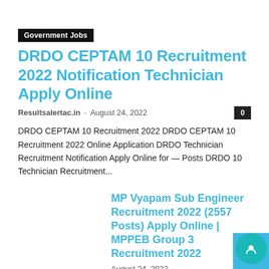Government Jobs
DRDO CEPTAM 10 Recruitment 2022 Notification Technician Apply Online
Resultsalertac.in  -  August 24, 2022
DRDO CEPTAM 10 Recruitment 2022 DRDO CEPTAM 10 Recruitment 2022 Online Application DRDO Technician Recruitment Notification Apply Online for — Posts DRDO 10 Technician Recruitment...
MP Vyapam Sub Engineer Recruitment 2022 (2557 Posts) Apply Online | MPPEB Group 3 Recruitment 2022
August 24, 2022
Vikram University Result 2022 (